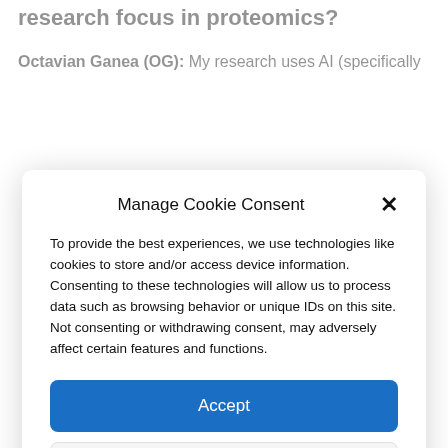research focus in proteomics?
Octavian Ganea (OG): My research uses AI (specifically
Manage Cookie Consent
To provide the best experiences, we use technologies like cookies to store and/or access device information. Consenting to these technologies will allow us to process data such as browsing behavior or unique IDs on this site. Not consenting or withdrawing consent, may adversely affect certain features and functions.
Accept
Deny
View preferences
Cookie Policy